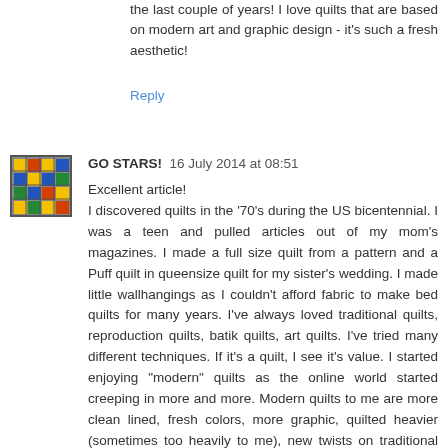the last couple of years! I love quilts that are based on modern art and graphic design - it's such a fresh aesthetic!
Reply
[Figure (illustration): Avatar icon with colorful grid/quilt-like pattern in yellow, blue, red and green squares]
GO STARS!  16 July 2014 at 08:51
Excellent article!
I discovered quilts in the '70's during the US bicentennial. I was a teen and pulled articles out of my mom's magazines. I made a full size quilt from a pattern and a Puff quilt in queensize quilt for my sister's wedding. I made little wallhangings as I couldn't afford fabric to make bed quilts for many years. I've always loved traditional quilts, reproduction quilts, batik quilts, art quilts. I've tried many different techniques. If it's a quilt, I see it's value. I started enjoying "modern" quilts as the online world started creeping in more and more. Modern quilts to me are more clean lined, fresh colors, more graphic, quilted heavier (sometimes too heavily to me), new twists on traditional blocks and more improv. Sometimes the quality of the work isn't the best, but that's not the whole story. The story is the number of quilters who are now excited about making